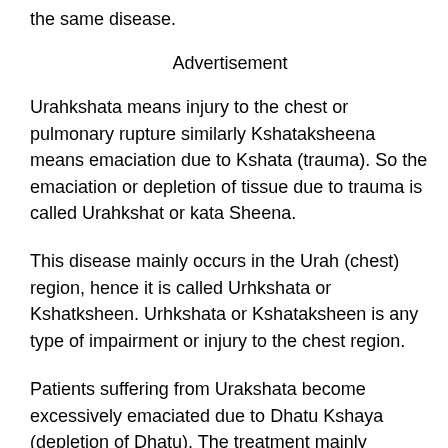the same disease.
Advertisement
Urahkshata means injury to the chest or pulmonary rupture similarly Kshataksheena means emaciation due to Kshata (trauma). So the emaciation or depletion of tissue due to trauma is called Urahkshat or kata Sheena.
This disease mainly occurs in the Urah (chest) region, hence it is called Urhkshata or Kshatksheen. Urhkshata or Kshataksheen is any type of impairment or injury to the chest region.
Patients suffering from Urakshata become excessively emaciated due to Dhatu Kshaya (depletion of Dhatu). The treatment mainly involves Santarpana (nourishing